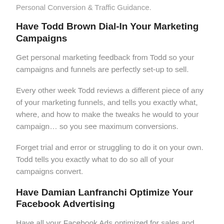Personal Conversion & Traffic Guidance.
Have Todd Brown Dial-In Your Marketing Campaigns
Get personal marketing feedback from Todd so your campaigns and funnels are perfectly set-up to sell.
Every other week Todd reviews a different piece of any of your marketing funnels, and tells you exactly what, where, and how to make the tweaks he would to your campaign… so you see maximum conversions.
Forget trial and error or struggling to do it on your own. Todd tells you exactly what to do so all of your campaigns convert.
Have Damian Lanfranchi Optimize Your Facebook Advertising
Have all your Facebook Ads optimized for sales and profits.